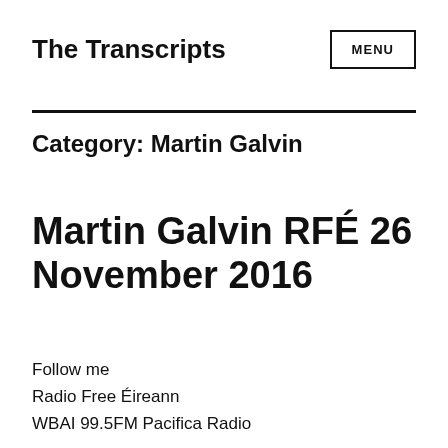The Transcripts
Category: Martin Galvin
Martin Galvin RFÉ 26 November 2016
Follow me
Radio Free Éireann
WBAI 99.5FM Pacifica Radio